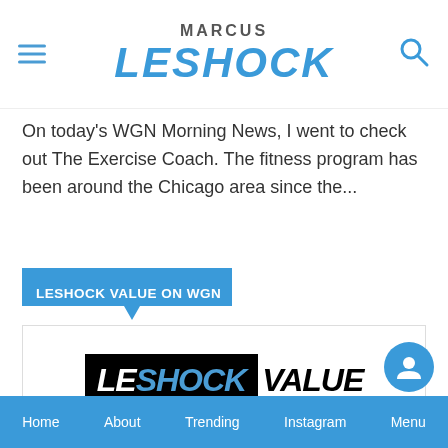MARCUS LESHOCK
On today's WGN Morning News, I went to check out The Exercise Coach. The fitness program has been around the Chicago area since the...
LESHOCK VALUE ON WGN
[Figure (logo): LeShock Value logo: black box containing white 'LE' and blue 'SHOCK' text, followed by black 'VALUE' text]
Home   About   Trending   Instagram   Menu